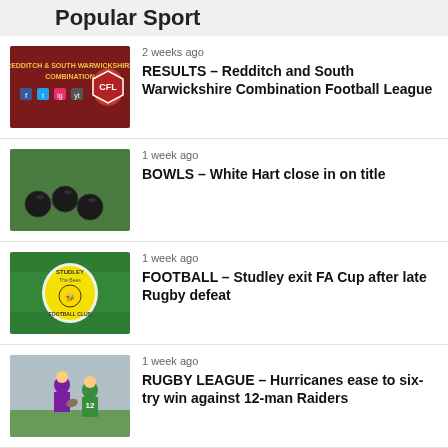Popular Sport
2 weeks ago – RESULTS – Redditch and South Warwickshire Combination Football League
1 week ago – BOWLS – White Hart close in on title
1 week ago – FOOTBALL – Studley exit FA Cup after late Rugby defeat
1 week ago – RUGBY LEAGUE – Hurricanes ease to six-try win against 12-man Raiders
3 days ago – FOOTBALL – Reds respond to late Nuneaton loss with emphatic Stourbridge win